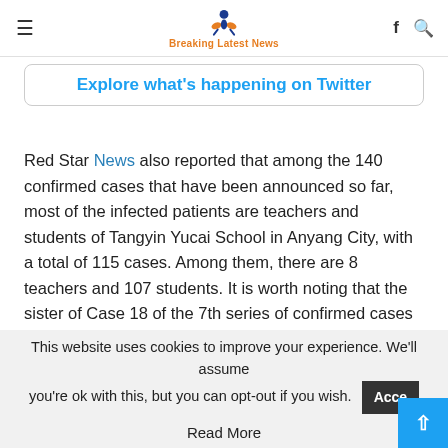Breaking Latest News
Explore what's happening on Twitter
Red Star News also reported that among the 140 confirmed cases that have been announced so far, most of the infected patients are teachers and students of Tangyin Yucai School in Anyang City, with a total of 115 cases. Among them, there are 8 teachers and 107 students. It is worth noting that the sister of Case 18 of the 7th series of confirmed cases is a Chinese teacher in the third grade of Tangyin Yucai School in Anyang City, and all 4 members of the family have been diagnosed.
This website uses cookies to improve your experience. We'll assume you're ok with this, but you can opt-out if you wish. Accept Read More